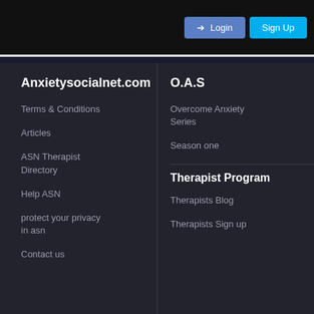Login | Sign Up
Anxietysocialnet.com
Terms & Conditions
Articles
ASN Therapist Directory
Help ASN
protect your privacy in asn
Contact us
O.A.S
Overcome Anxiety Series
Season one
Therapist Program
Therapists Blog
Therapists Sign up